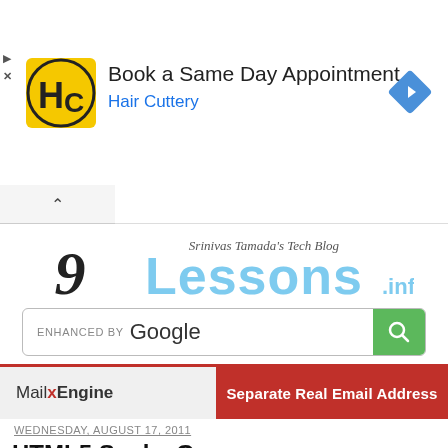[Figure (screenshot): Advertisement banner for Hair Cuttery - Book a Same Day Appointment with HC logo and navigation arrow icon]
[Figure (logo): 9Lessons.info logo - Srinivas Tamada's Tech Blog]
[Figure (screenshot): Google enhanced search bar with green search button]
[Figure (screenshot): MailxEngine advertisement banner - Separate Real Email Address]
WEDNESDAY, AUGUST 17, 2011
HTML5 Snake Game
GAME
HTML5
WEBDESIGN
{ 29 comments }   SRINIVAS TAMADA   Tweet